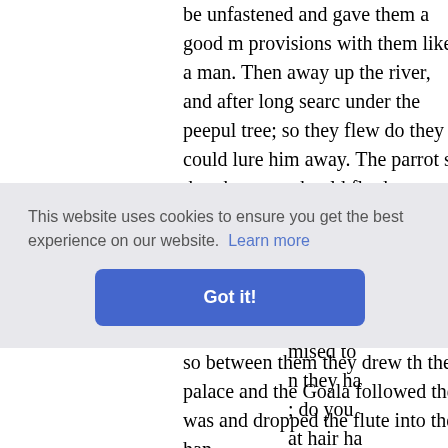be unfastened and gave them a good m provisions with them like a man. Then away up the river, and after long searc under the peepul tree; so they flew do they could lure him away. The parrot sa that the crow should fly down and carry stick and wrapper at the foot of the tree. it suddenly pounced on the flute and ca after the crow to recover his flute and t tree and the Goala kept following; and him and so between them they drew th the palace and the Goala followed ther was and dropped the flute into the han
[Figure (screenshot): Cookie consent overlay with text 'This website uses cookies to ensure you get the best experience on our website. Learn more' and a 'Got it!' button]
asked t mised to they ha ; do you at hair ha ow the s which th found that it was like his, as long and